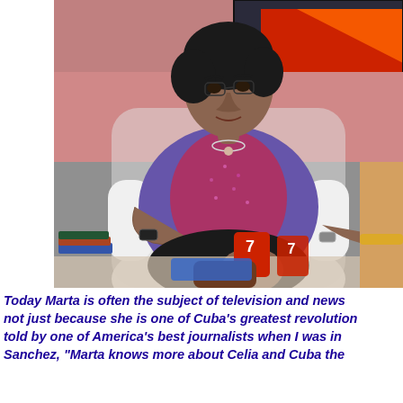[Figure (photo): An elderly woman with short dark hair wearing a sparkly purple-pink top and a purple blazer, seated in a white chair, gesturing with her hands. In the background is a TV screen with a red and orange graphic. Another person is partially visible on the right. Books and cups are on a table in the foreground.]
Today Marta is often the subject of television and news not just because she is one of Cuba's greatest revolution told by one of America's best journalists when I was in Sanchez, "Marta knows more about Celia and Cuba the...